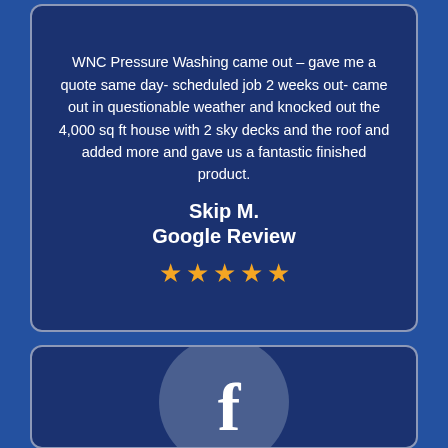WNC Pressure Washing came out – gave me a quote same day- scheduled job 2 weeks out- came out in questionable weather and knocked out the 4,000 sq ft house with 2 sky decks and the roof and added more and gave us a fantastic finished product.
Skip M.
Google Review
[Figure (other): Five gold star rating icons]
[Figure (logo): Facebook logo - circular icon with white 'f' on blue/dark blue background, partially cropped at bottom]